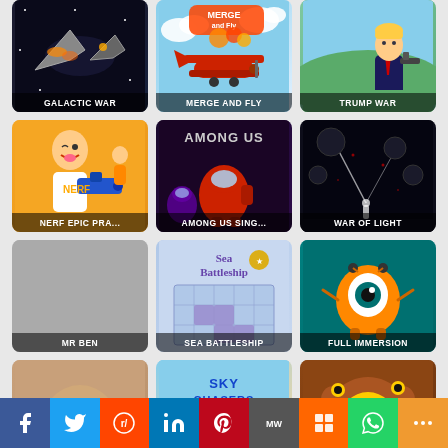[Figure (screenshot): Game thumbnail grid showing: Galactic War (space fighters), Merge and Fly (cartoon biplane), Trump War (cartoon Trump with gun), Nerf Epic Pranks (kid with nerf gun), Among Us Single Player (among us characters), War of Light (dark atmospheric scene), Mr Ben (gray placeholder), Sea Battleship (battleship grid game), Full Immersion (orange creature on teal), plus three partially visible thumbnails at bottom (owl game, Sky Chasers, monster game)]
GALACTIC WAR
MERGE AND FLY
TRUMP WAR
NERF EPIC PRA...
AMONG US SING...
WAR OF LIGHT
MR BEN
SEA BATTLESHIP
FULL IMMERSION